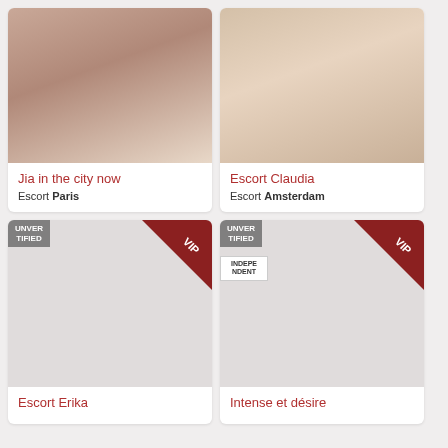[Figure (photo): Card photo for Jia - escort listing, cropped torso photo]
Jia in the city now
Escort Paris
[Figure (photo): Card photo for Escort Claudia - cropped photo on bed]
Escort Claudia
Escort Amsterdam
[Figure (photo): Card photo for Escort Erika - blank/loading placeholder with UNVERIFIED and VIP badges]
Escort Erika
[Figure (photo): Card photo for Intense et désire - blank/loading placeholder with UNVERIFIED, INDEPENDENT, and VIP badges]
Intense et désire